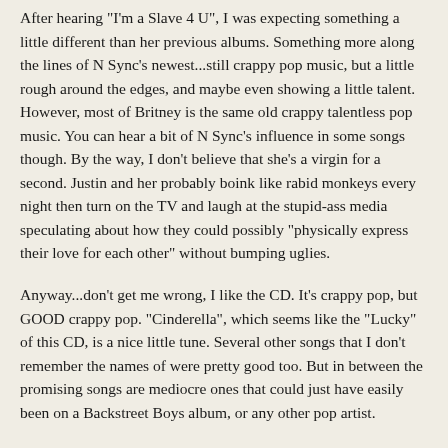After hearing "I'm a Slave 4 U", I was expecting something a little different than her previous albums. Something more along the lines of N Sync's newest...still crappy pop music, but a little rough around the edges, and maybe even showing a little talent. However, most of Britney is the same old crappy talentless pop music. You can hear a bit of N Sync's influence in some songs though. By the way, I don't believe that she's a virgin for a second. Justin and her probably boink like rabid monkeys every night then turn on the TV and laugh at the stupid-ass media speculating about how they could possibly "physically express their love for each other" without bumping uglies.
Anyway...don't get me wrong, I like the CD. It's crappy pop, but GOOD crappy pop. "Cinderella", which seems like the "Lucky" of this CD, is a nice little tune. Several other songs that I don't remember the names of were pretty good too. But in between the promising songs are mediocre ones that could just have easily been on a Backstreet Boys album, or any other pop artist.
Overall, I like it, but it could have been better. Three thumbs up (out of four and half).